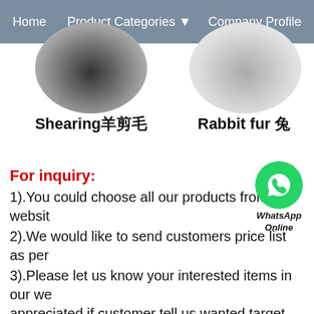Home | Product Categories | Company Profile
[Figure (photo): Two circular cropped images of animal fur: left shows dark sheared sheep wool, right shows light grey rabbit fur]
Shearing羊剪毛
Rabbit fur 兔
For inquiry:
[Figure (logo): WhatsApp green phone icon with WhatsApp Online text below]
1).You could choose all our products from our websit
2).We would like to send customers price list as per
3).Please let us know your interested items in our we appreciated if customer tell us wanted target price. T time.
4).We promise we will reply back to your any inquiry
5).Please let us know your quantity order and quality